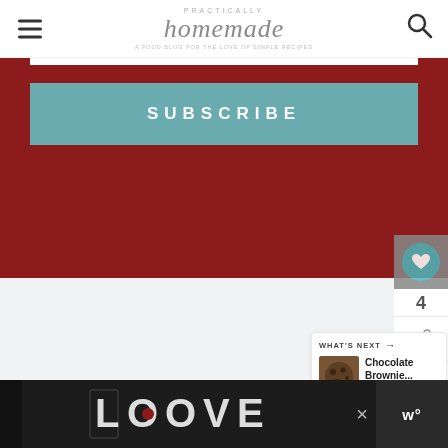Practically Homemade
[Figure (screenshot): Red background subscription banner with a teal SUBSCRIBE button]
[Figure (infographic): Side widget with heart/like icon showing count 4 and share button]
[Figure (infographic): What's Next panel with Chocolate Brownie... thumbnail and text]
[Figure (infographic): Bottom advertisement bar with LOVE decorative text and close button]